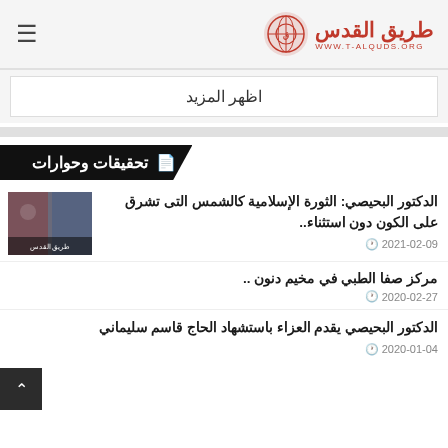طريق القدس | WWW.T-ALQUDS.ORG
اظهر المزيد
تحقيقات وحوارات
الدكتور البحيصي: الثورة الإسلامية كالشمس التى تشرق على الكون دون استثناء..
2021-02-09
مركز صفا الطبي في مخيم دنون ..
2020-02-27
الدكتور البحيصي يقدم العزاء باستشهاد الحاج قاسم سليماني
2020-01-04